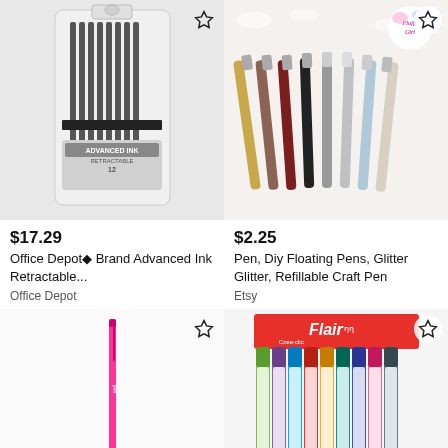[Figure (photo): Box of Office Depot brand Advanced Ink Retractable pens, 12-pack, in gray/black packaging]
[Figure (photo): Collection of colorful DIY Floating Glitter pens laid on white fur background, with Fluffy Girl logo]
$17.29
Office Depot® Brand Advanced Ink Retractable...
Office Depot
$2.25
Pen, Diy Floating Pens, Glitter Glitter, Refillable Craft Pen
Etsy
[Figure (photo): Single pink pen on white background]
[Figure (photo): Flair Czee-click multicolor pens display pack with colorful barrels]